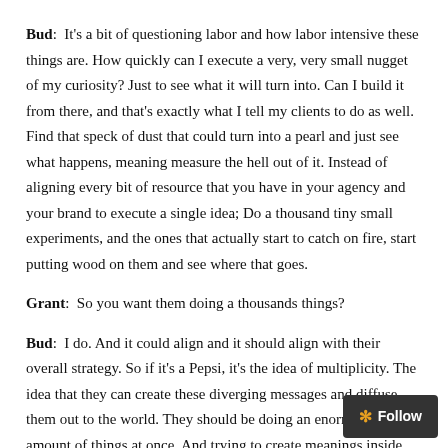Bud:  It's a bit of questioning labor and how labor intensive these things are. How quickly can I execute a very, very small nugget of my curiosity? Just to see what it will turn into. Can I build it from there, and that's exactly what I tell my clients to do as well. Find that speck of dust that could turn into a pearl and just see what happens, meaning measure the hell out of it. Instead of aligning every bit of resource that you have in your agency and your brand to execute a single idea; Do a thousand tiny small experiments, and the ones that actually start to catch on fire, start putting wood on them and see where that goes.
Grant:  So you want them doing a thousands things?
Bud:  I do. And it could align and it should align with their overall strategy. So if it's a Pepsi, it's the idea of multiplicity. The idea that they can create these diverging messages and diffuse them out to the world. They should be doing an enormous amount of things at once. And trying to create meanings inside different communities. Because that really fits their brand. They're not continuity, like Coke